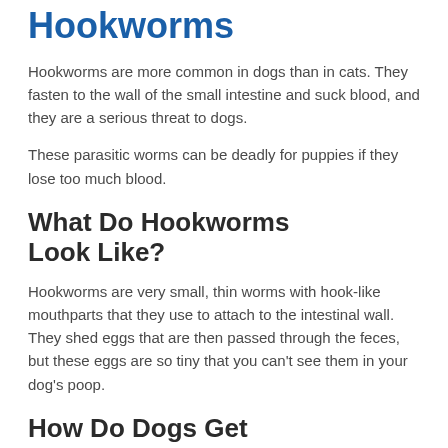Hookworms
Hookworms are more common in dogs than in cats. They fasten to the wall of the small intestine and suck blood, and they are a serious threat to dogs.
These parasitic worms can be deadly for puppies if they lose too much blood.
What Do Hookworms Look Like?
Hookworms are very small, thin worms with hook-like mouthparts that they use to attach to the intestinal wall. They shed eggs that are then passed through the feces, but these eggs are so tiny that you can't see them in your dog's poop.
How Do Dogs Get Hookworms?